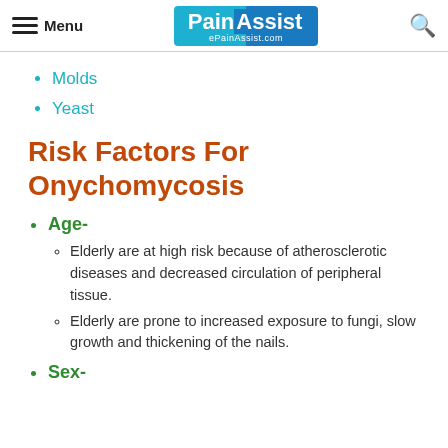Menu | PainAssist ePainAssist.com
Molds
Yeast
Risk Factors For Onychomycosis
Age-
Elderly are at high risk because of atherosclerotic diseases and decreased circulation of peripheral tissue.
Elderly are prone to increased exposure to fungi, slow growth and thickening of the nails.
Sex-